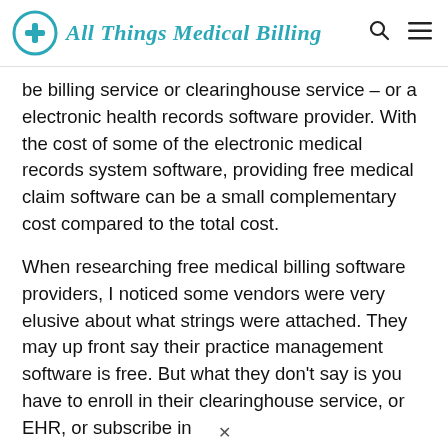All Things Medical Billing
be billing service or clearinghouse service – or a electronic health records software provider. With the cost of some of the electronic medical records system software, providing free medical claim software can be a small complementary cost compared to the total cost.
When researching free medical billing software providers, I noticed some vendors were very elusive about what strings were attached. They may up front say their practice management software is free. But what they don't say is you have to enroll in their clearinghouse service, or EHR, or subscribe in